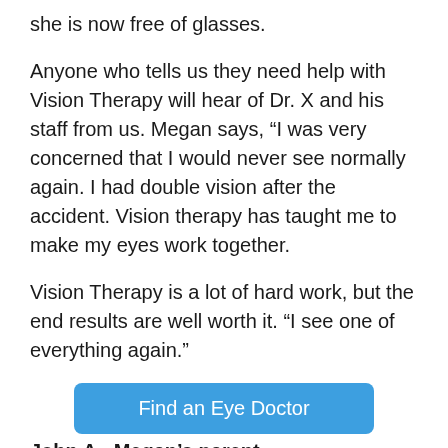she is now free of glasses.
Anyone who tells us they need help with Vision Therapy will hear of Dr. X and his staff from us. Megan says, “I was very concerned that I would never see normally again. I had double vision after the accident. Vision therapy has taught me to make my eyes work together.
Vision Therapy is a lot of hard work, but the end results are well worth it. “I see one of everything again.”
[Figure (other): Blue rounded button labeled 'Find an Eye Doctor']
John A., Megan’s parent